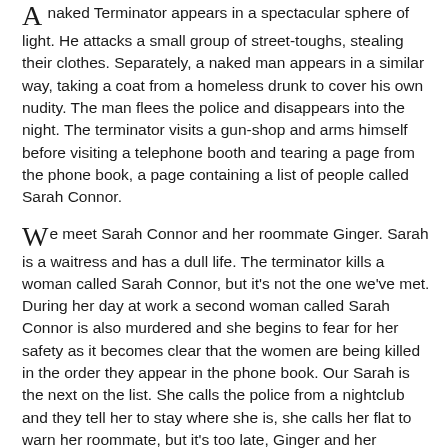A naked Terminator appears in a spectacular sphere of light. He attacks a small group of street-toughs, stealing their clothes. Separately, a naked man appears in a similar way, taking a coat from a homeless drunk to cover his own nudity. The man flees the police and disappears into the night. The terminator visits a gun-shop and arms himself before visiting a telephone booth and tearing a page from the phone book, a page containing a list of people called Sarah Connor.
We meet Sarah Connor and her roommate Ginger. Sarah is a waitress and has a dull life. The terminator kills a woman called Sarah Connor, but it's not the one we've met. During her day at work a second woman called Sarah Connor is also murdered and she begins to fear for her safety as it becomes clear that the women are being killed in the order they appear in the phone book. Our Sarah is the next on the list. She calls the police from a nightclub and they tell her to stay where she is, she calls her flat to warn her roommate, but it's too late, Ginger and her boyfriend have already been murdered. The Terminator hears the message and learning Sarah's location, dets off to intercept.